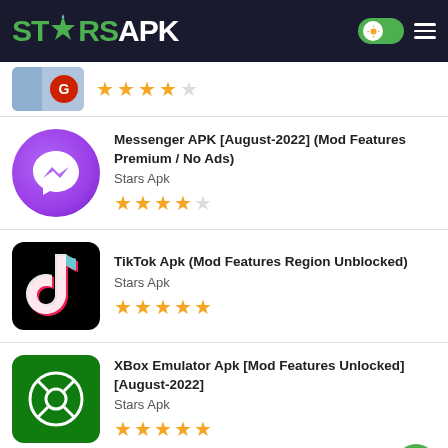STARSAPK
★★★★☆ (partial item, top)
Messenger APK [August-2022] (Mod Features Premium / No Ads) — Stars Apk — ★★★★☆
TikTok Apk (Mod Features Region Unblocked) — Stars Apk — ★★★★★
XBox Emulator Apk [Mod Features Unlocked] [August-2022] — Stars Apk — ★★★★★
MOST VIEWED APPS